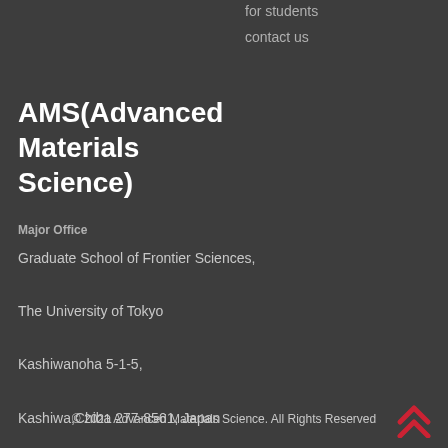for students
contact us
AMS(Advanced Materials Science)
Major Office
Graduate School of Frontier Sciences,
The University of Tokyo
Kashiwanoha 5-1-5,
Kashiwa,Chiba 277-8561, Japan
Email : ams-office@ams.k.u-tokyo.ac.jp
© 2021 Advanced Materials Science. All Rights Reserved